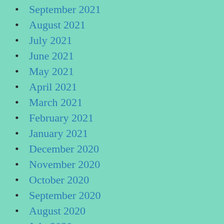September 2021
August 2021
July 2021
June 2021
May 2021
April 2021
March 2021
February 2021
January 2021
December 2020
November 2020
October 2020
September 2020
August 2020
July 2020
June 2020
May 2020